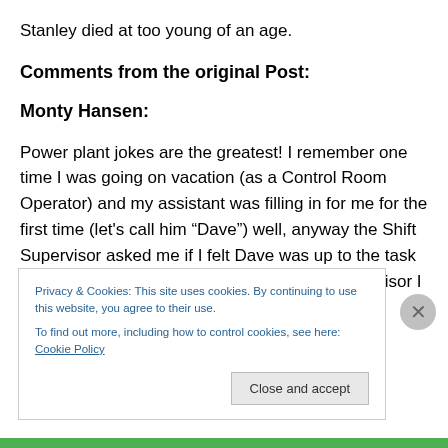Stanley died at too young of an age.
Comments from the original Post:
Monty Hansen:
Power plant jokes are the greatest! I remember one time I was going on vacation (as a Control Room Operator) and my assistant was filling in for me for the first time (let’s call him “Dave”) well, anyway the Shift Supervisor asked me if I felt Dave was up to the task (Dave is an excellent operator), I told the Supervisor I had faith in Dave, but he
Privacy & Cookies: This site uses cookies. By continuing to use this website, you agree to their use.
To find out more, including how to control cookies, see here: Cookie Policy
Close and accept